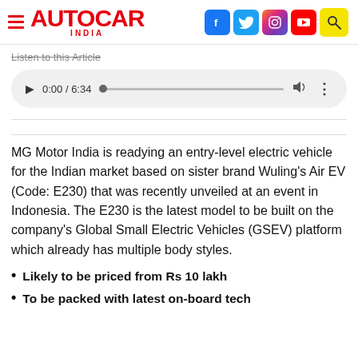AUTOCAR INDIA
Listen to this Article
[Figure (other): Audio player showing 0:00 / 6:34 with play button, progress bar, volume and more options]
MG Motor India is readying an entry-level electric vehicle for the Indian market based on sister brand Wuling's Air EV (Code: E230) that was recently unveiled at an event in Indonesia. The E230 is the latest model to be built on the company's Global Small Electric Vehicles (GSEV) platform which already has multiple body styles.
Likely to be priced from Rs 10 lakh
To be packed with latest on-board tech